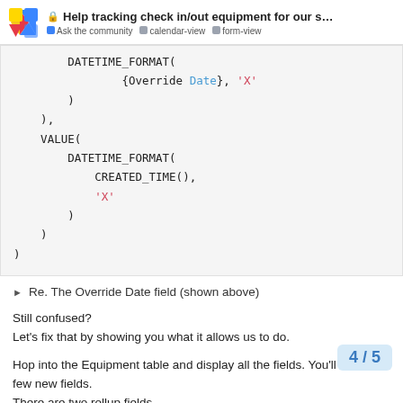Help tracking check in/out equipment for our s... | Ask the community | calendar-view | form-view
DATETIME_FORMAT(
    {Override Date}, 'X'
),
VALUE(
    DATETIME_FORMAT(
        CREATED_TIME(),
        'X'
    )
)
)
► Re. The Override Date field (shown above)
Still confused?
Let's fix that by showing you what it allows us to do.

Hop into the Equipment table and display all the fields. You'll notice a few new fields.
There are two rollup fields.